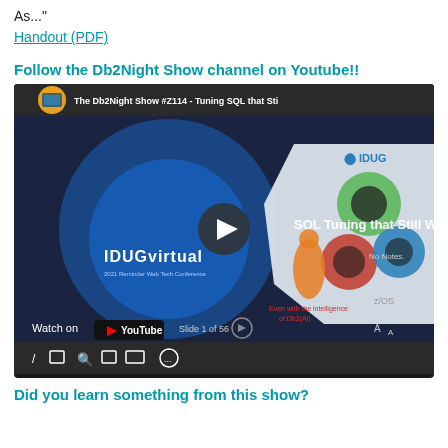As..."
Handout (PDF)
Follow the Db2Night Show channel on Youtube!!
[Figure (screenshot): YouTube video thumbnail for 'The Db2Night Show #Z114 - Tuning SQL that Sti...' showing an IDUG Virtual presentation slide about SQL Tuning that Still Works, with a play button overlay, Watch on YouTube controls, and slide navigation.]
Did you learn something from this show?